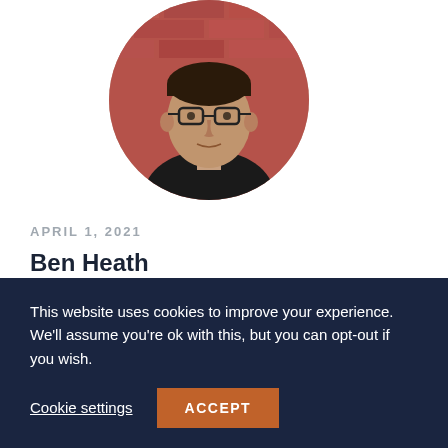[Figure (photo): Circular profile photo of Ben Heath — a man wearing glasses and a dark shirt, against a brick wall background]
APRIL 1, 2021
Ben Heath
Hi Jairus, have you got pop ups disabled? You may need to enable them for the template to
This website uses cookies to improve your experience. We'll assume you're ok with this, but you can opt-out if you wish.
Cookie settings
ACCEPT